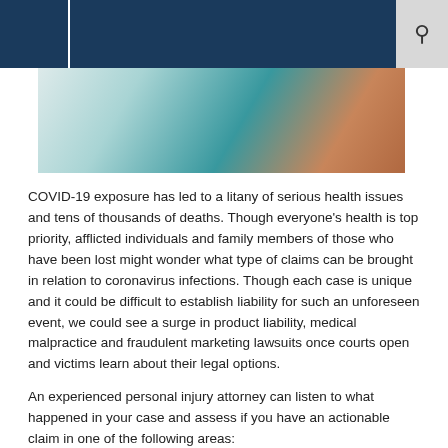[Figure (photo): Partial image of a person in a teal/turquoise jacket with a tie, likely a professional or attorney]
COVID-19 exposure has led to a litany of serious health issues and tens of thousands of deaths. Though everyone's health is top priority, afflicted individuals and family members of those who have been lost might wonder what type of claims can be brought in relation to coronavirus infections. Though each case is unique and it could be difficult to establish liability for such an unforeseen event, we could see a surge in product liability, medical malpractice and fraudulent marketing lawsuits once courts open and victims learn about their legal options.
An experienced personal injury attorney can listen to what happened in your case and assess if you have an actionable claim in one of the following areas:
Products liability — Products liability claims arise when a